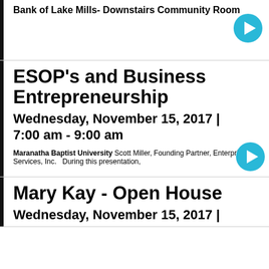Bank of Lake Mills- Downstairs Community Room
ESOP's and Business Entrepreneurship
Wednesday, November 15, 2017 | 7:00 am - 9:00 am
Maranatha Baptist University Scott Miller, Founding Partner, Enterprise Services, Inc.   During this presentation,
Mary Kay - Open House
Wednesday, November 15, 2017 |